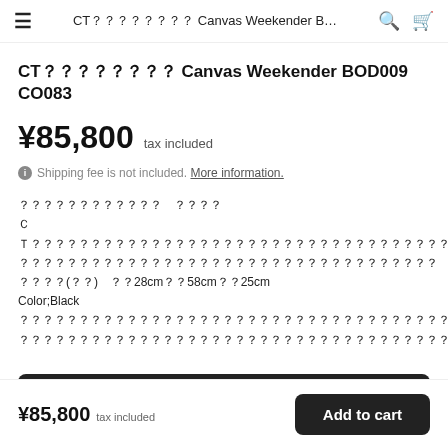CT？？？？？？？？ Canvas Weekender B... 🔍 🛒
CT？？？？？？？？ Canvas Weekender BOD009 CO083
¥85,800  tax included
ℹ Shipping fee is not included. More information.
？？？？？？？？？？？？　？？？？
ＣＴ？？？？？？？？？？？？？？？？？？？？？？？？？？？？？？？？？？？？？？？？？？？？？？？？？？？？？？？？？？？？？？？？
？？？？？？？？？？？？？？？？？？？？？？？？？？？？？？？？？？？
？？？？(？？？)　？？28cm？？58cm？？25cm
Color;Black
？？？？？？？？？？？？？？？？？？？？？？？？？？？？？？？？？？？？？？？？？？？？？？？？？？？？？？？？？？？？？？？？？？？？？？？？？？？？？？？？？？？？？？？？？？？？？？？？？？？？？？？？？？？？？？？？？？？？？？？？？？？？？？？？？？？？
¥85,800  tax included  Add to cart